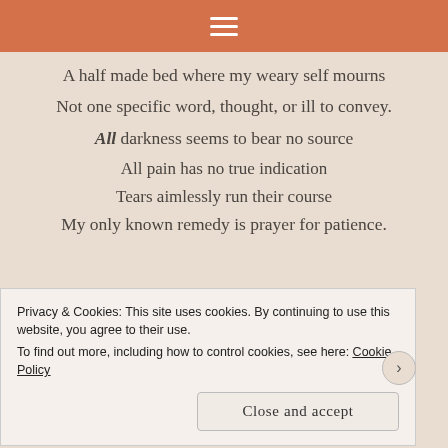≡
A half made bed where my weary self mourns
Not one specific word, thought, or ill to convey.
All darkness seems to bear no source
All pain has no true indication
Tears aimlessly run their course
My only known remedy is prayer for patience.
Privacy & Cookies: This site uses cookies. By continuing to use this website, you agree to their use.
To find out more, including how to control cookies, see here: Cookie Policy
Close and accept